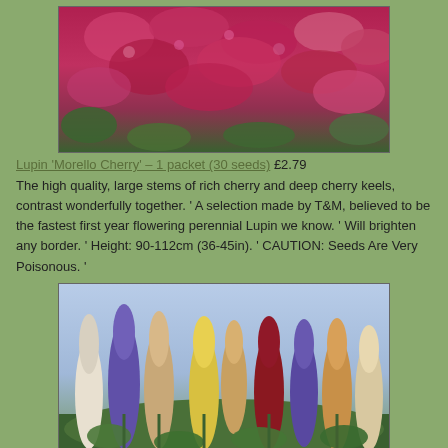[Figure (photo): Photo of Lupin Morello Cherry flowers — dense pink/red blooms with green leaves]
Lupin 'Morello Cherry' – 1 packet (30 seeds) £2.79
The high quality, large stems of rich cherry and deep cherry keels, contrast wonderfully together. ' A selection made by T&M, believed to be the fastest first year flowering perennial Lupin we know. ' Will brighten any border. ' Height: 90-112cm (36-45in). ' CAUTION: Seeds Are Very Poisonous. '
[Figure (photo): Photo of Lupin Band of Nobles Mixed — multiple tall lupin spikes in purple, white, pink, orange, yellow, red colors against green foliage]
Lupin 'Band of Nobles Mixed' – 1 packet (35 seeds) £2.49